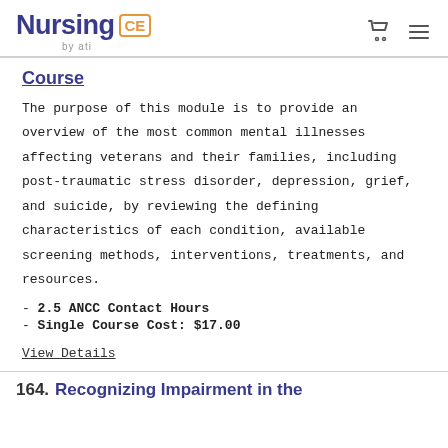Nursing CE by ati
Course
The purpose of this module is to provide an overview of the most common mental illnesses affecting veterans and their families, including post-traumatic stress disorder, depression, grief, and suicide, by reviewing the defining characteristics of each condition, available screening methods, interventions, treatments, and resources.
- 2.5 ANCC Contact Hours
- Single Course Cost: $17.00
View Details
164. Recognizing Impairment in the